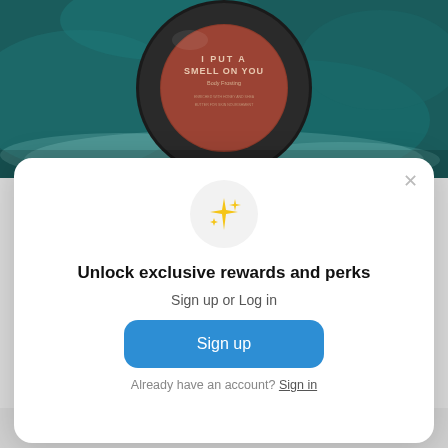[Figure (photo): Dark product jar labeled 'I PUT A SMELL ON YOU Body Frosting' resting on teal velvet fabric with misty smoke effect]
Unlock exclusive rewards and perks
Sign up or Log in
Sign up
Already have an account? Sign in